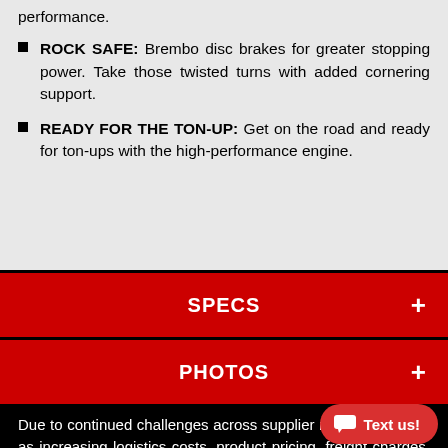performance.
ROCK SAFE: Brembo disc brakes for greater stopping power. Take those twisted turns with added cornering support.
READY FOR THE TON-UP: Get on the road and ready for ton-ups with the high-performance engine.
SPECS +
PHOTOS +
Due to continued challenges across supplier networks as well as increasing logistics costs, product pricing, freight charges, specifications, and features are subject to change at any time without prior notice. Please confirm all information with your local dealership.